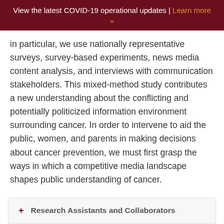View the latest COVID-19 operational updates | Learn more »
in particular, we use nationally representative surveys, survey-based experiments, news media content analysis, and interviews with communication stakeholders. This mixed-method study contributes a new understanding about the conflicting and potentially politicized information environment surrounding cancer. In order to intervene to aid the public, women, and parents in making decisions about cancer prevention, we must first grasp the ways in which a competitive media landscape shapes public understanding of cancer.
+ Research Assistants and Collaborators
+ Acknowledgement